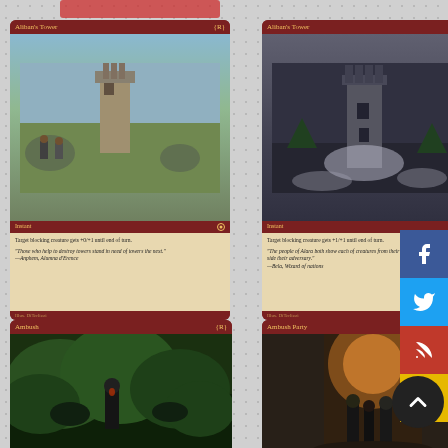[Figure (photo): Magic: The Gathering card - Aliban's Tower (1), Light Play, English version with daytime landscape art]
Aliban's Tower (1)
Light Play, English
$0.06
[Figure (photo): Magic: The Gathering card - Aliban's Tower (2), Light Play, English version with dark/nighttime tower art]
Aliban's Tower (2)
Light Play, English
$0.06
[Figure (photo): Partial view of Magic: The Gathering card - Ambush, showing green forest art]
[Figure (photo): Partial view of Magic: The Gathering card - Ambush Party, showing orange/fire dungeon art]